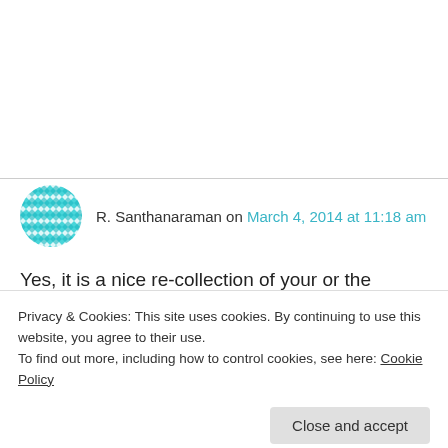R. Santhanaraman on March 4, 2014 at 11:18 am
Yes, it is a nice re-collection of your or the encounters of others. Enjoyable as a TamBrahm mama myself. Like I tried to categorise my wife, I tried finding me in one of those described. Still trying to find the right one. Though you called
Privacy & Cookies: This site uses cookies. By continuing to use this website, you agree to their use.
To find out more, including how to control cookies, see here: Cookie Policy
'funsters' should be able to laugh at themselves.